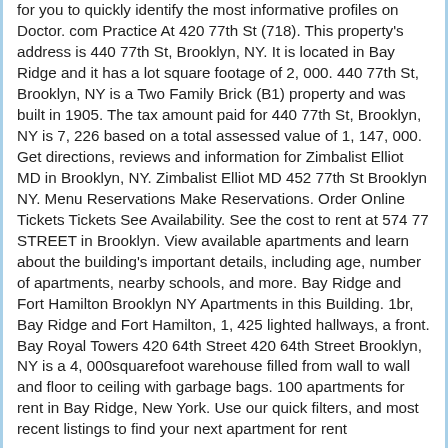for you to quickly identify the most informative profiles on Doctor. com Practice At 420 77th St (718). This property's address is 440 77th St, Brooklyn, NY. It is located in Bay Ridge and it has a lot square footage of 2, 000. 440 77th St, Brooklyn, NY is a Two Family Brick (B1) property and was built in 1905. The tax amount paid for 440 77th St, Brooklyn, NY is 7, 226 based on a total assessed value of 1, 147, 000. Get directions, reviews and information for Zimbalist Elliot MD in Brooklyn, NY. Zimbalist Elliot MD 452 77th St Brooklyn NY. Menu Reservations Make Reservations. Order Online Tickets Tickets See Availability. See the cost to rent at 574 77 STREET in Brooklyn. View available apartments and learn about the building's important details, including age, number of apartments, nearby schools, and more. Bay Ridge and Fort Hamilton Brooklyn NY Apartments in this Building. 1br, Bay Ridge and Fort Hamilton, 1, 425 lighted hallways, a front. Bay Royal Towers 420 64th Street 420 64th Street Brooklyn, NY is a 4, 000squarefoot warehouse filled from wall to wall and floor to ceiling with garbage bags. 100 apartments for rent in Bay Ridge, New York. Use our quick filters, and most recent listings to find your next apartment for rent